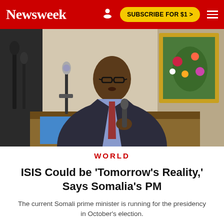Newsweek   SUBSCRIBE FOR $1 >
[Figure (photo): A man in a dark suit and red tie speaking at a podium with microphones, holding a handheld microphone. A gold-framed painting of flowers is visible in the background. A Somali coat of arms banner is partially visible.]
WORLD
ISIS Could be 'Tomorrow's Reality,' Says Somalia's PM
The current Somali prime minister is running for the presidency in October's election.